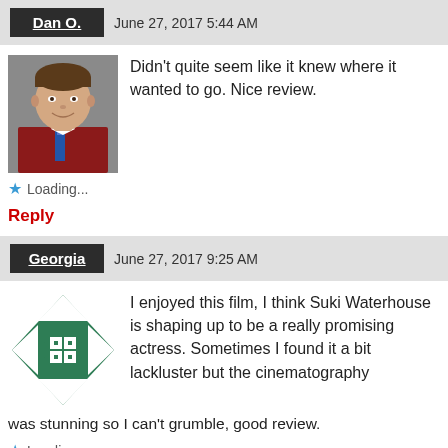Dan O.   June 27, 2017 5:44 AM
[Figure (photo): Profile photo of Dan O., a young man in a red sweater and tie, smiling]
Didn't quite seem like it knew where it wanted to go. Nice review.
★ Loading...
Reply
Georgia   June 27, 2017 9:25 AM
[Figure (logo): Green and white geometric diamond/star pattern avatar for Georgia]
I enjoyed this film, I think Suki Waterhouse is shaping up to be a really promising actress. Sometimes I found it a bit lackluster but the cinematography was stunning so I can't grumble, good review.
★ Loading...
Reply